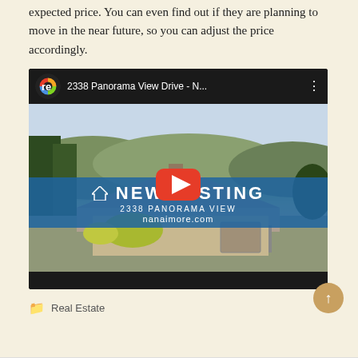expected price. You can even find out if they are planning to move in the near future, so you can adjust the price accordingly.
[Figure (screenshot): YouTube video thumbnail for '2338 Panorama View Drive - N...' showing an aerial/drone view of a house with a NEW LISTING banner, address 2338 PANORAMA VIEW, and website nanaimore.com]
Real Estate